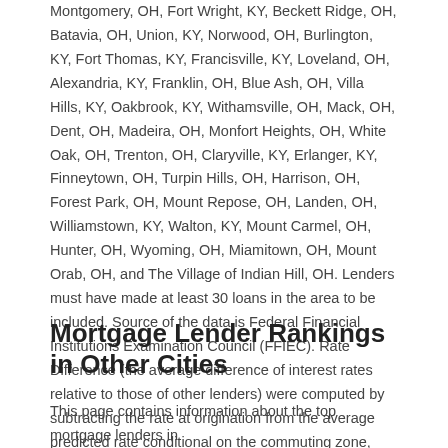Montgomery, OH, Fort Wright, KY, Beckett Ridge, OH, Batavia, OH, Union, KY, Norwood, OH, Burlington, KY, Fort Thomas, KY, Francisville, KY, Loveland, OH, Alexandria, KY, Franklin, OH, Blue Ash, OH, Villa Hills, KY, Oakbrook, KY, Withamsville, OH, Mack, OH, Dent, OH, Madeira, OH, Monfort Heights, OH, White Oak, OH, Trenton, OH, Claryville, KY, Erlanger, KY, Finneytown, OH, Turpin Hills, OH, Harrison, OH, Forest Park, OH, Mount Repose, OH, Landen, OH, Williamstown, KY, Walton, KY, Mount Carmel, OH, Hunter, OH, Wyoming, OH, Miamitown, OH, Mount Orab, OH, and The Village of Indian Hill, OH. Lenders must have made at least 30 loans in the area to be included. Source of the data is Federal Financial Institutions Examination Council (FFIEC). Rate Difference (the average difference of interest rates relative to those of other lenders) were computed by subtracting the rate at origination from the average predicted rate conditional on the commuting zone, borrower LTV, DTI, Loan Amount, Loan Type, and Loan Purpose, and then regularized based on a Bayesian approach to account for smaller sample sizes. Above-average mortgage closing costs were then added to the rate difference at a rate of +0.15/point. Star ratings were determined in intervals of 0.10% in rate difference per half star.
Mortgage Lender Rankings in Other Cities
This page contains information about the top mortgage lenders in